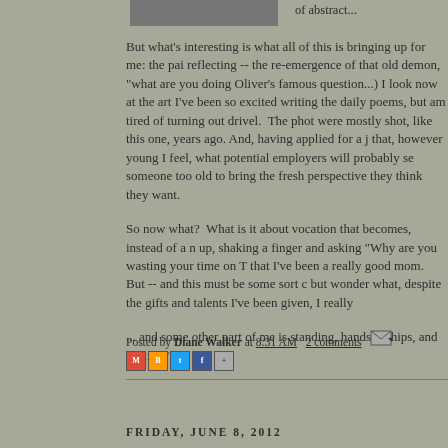[Figure (photo): Partial image visible at top left, cropped]
of abstract...
But what's interesting is what all of this is bringing up for me: the pain reflecting -- the re-emergence of that old demon, "what are you doing Oliver's famous question...) I look now at the art I've been so excited writing the daily poems, but am tired of turning out drivel.  The photo were mostly shot, like this one, years ago. And, having applied for a j that, however young I feel, what potential employers will probably se someone too old to bring the fresh perspective they think they want.
So now what?  What is it about vocation that becomes, instead of a n up, shaking a finger and asking "Why are you wasting your time on T that I've been a really good mom.  But -- and this must be some sort c but wonder what, despite the gifts and talents I've been given, I really
... and some other part of me is standing, hands on hips, and asking, "
Posted by Diane Walker at 8:31 AM   2 comments
FRIDAY, JUNE 8, 2012